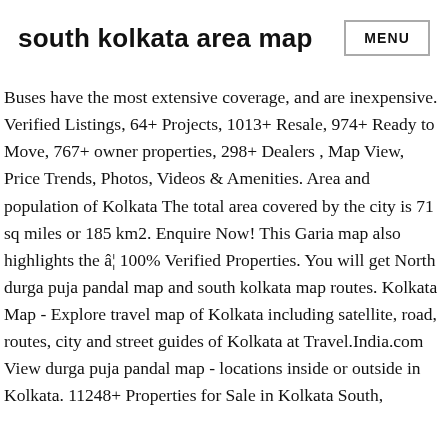south kolkata area map
Buses have the most extensive coverage, and are inexpensive. Verified Listings, 64+ Projects, 1013+ Resale, 974+ Ready to Move, 767+ owner properties, 298+ Dealers , Map View, Price Trends, Photos, Videos & Amenities. Area and population of Kolkata The total area covered by the city is 71 sq miles or 185 km2. Enquire Now! This Garia map also highlights the â¦ 100% Verified Properties. You will get North durga puja pandal map and south kolkata map routes. Kolkata Map - Explore travel map of Kolkata including satellite, road, routes, city and street guides of Kolkata at Travel.India.com View durga puja pandal map - locations inside or outside in Kolkata. 11248+ Properties for Sale in Kolkata South,